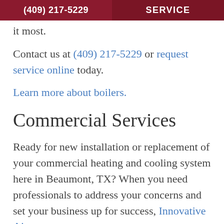(409) 217-5229 | SERVICE
it most.
Contact us at (409) 217-5229 or request service online today.
Learn more about boilers.
Commercial Services
Ready for new installation or replacement of your commercial heating and cooling system here in Beaumont, TX? When you need professionals to address your concerns and set your business up for success, Innovative Air